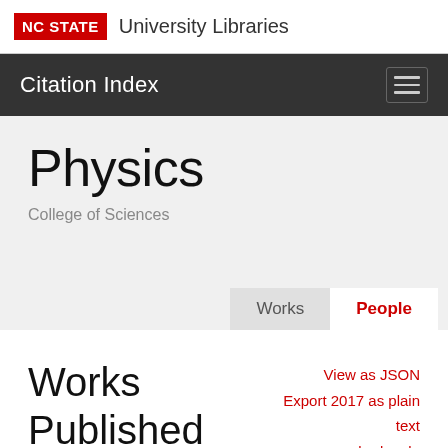NC STATE University Libraries
Citation Index
Physics
College of Sciences
Works	People
Works Published in 2017
View as JSON
Export 2017 as plain text
copy embed code